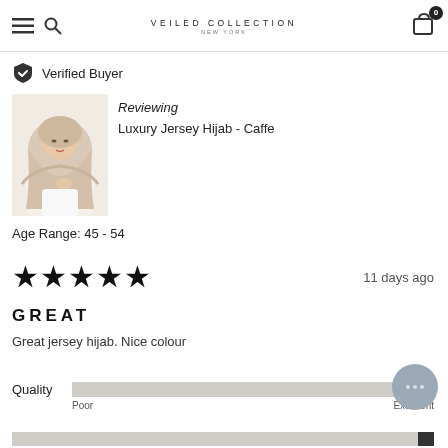VEILED COLLECTION NEW YORK
Verified Buyer
[Figure (photo): Product photo of a woman wearing a beige/caffe colored luxury jersey hijab]
Reviewing
Luxury Jersey Hijab - Caffe
Age Range: 45 - 54
★★★★★  11 days ago
GREAT
Great jersey hijab. Nice colour
Quality  Poor  Excellent